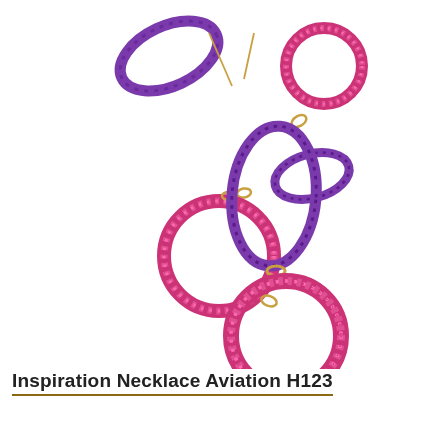[Figure (illustration): A beaded necklace with alternating pink/magenta and purple oval and circular rings connected by small gold links. The necklace features several large purple oval links, a medium pink circular beaded ring, a small pink circular beaded ring, and a large pink circular beaded pendant at the bottom.]
Inspiration Necklace Aviation H123